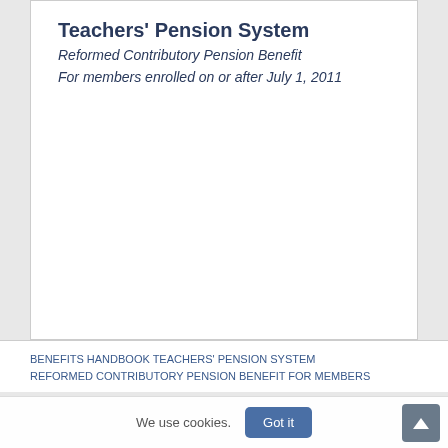Teachers' Pension System
Reformed Contributory Pension Benefit
For members enrolled on or after July 1, 2011
BENEFITS HANDBOOK TEACHERS' PENSION SYSTEM REFORMED CONTRIBUTORY PENSION BENEFIT FOR MEMBERS